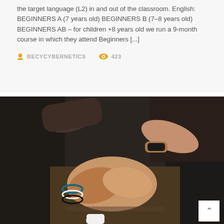the target language (L2) in and out of the classroom. English: BEGINNERS A (7 years old) BEGINNERS B (7–8 years old) BEGINNERS AB – for children +8 years old we run a 9-month course in which they attend Beginners [...]
BECYCYBERNETICS   423
[Figure (photo): Photo of multiple hands doing a fist bump together. One person has bracelet/bead jewelry and tattoos are visible on another arm. A watch and fitness tracker are visible on wrists. A water bottle is partially visible at the bottom center.]